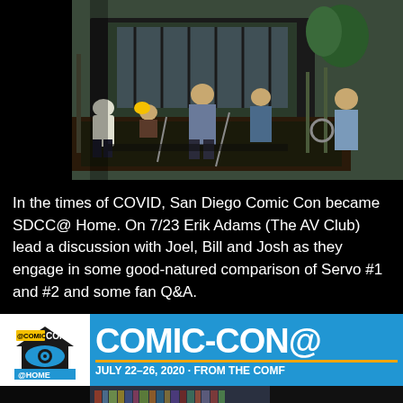[Figure (photo): Outdoor scene with multiple people working/digging in a burned area near a structure with metal fencing and trees in background]
In the times of COVID, San Diego Comic Con became SDCC@ Home. On 7/23 Erik Adams (The AV Club) lead a discussion with Joel, Bill and Josh as they engage in some good-natured comparison of Servo #1 and #2 and some fan Q&A.
[Figure (logo): Comic-Con @ Home banner with logo showing house/eye icon, text COMIC-CON@ in large white letters on blue background, with JULY 22–26, 2020 · FROM THE COMF... subtitle on yellow-orange bar]
[Figure (photo): Partial photo of people indoors, dark image showing bookshelves and a person's face at the bottom]